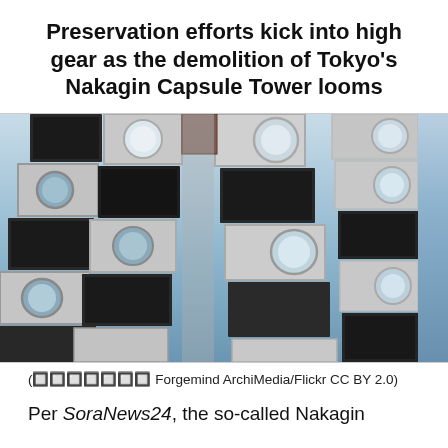Preservation efforts kick into high gear as the demolition of Tokyo's Nakagin Capsule Tower looms
[Figure (photo): Upward-angle photograph of the Nakagin Capsule Tower in Tokyo, showing the distinctive stacked concrete capsule modules with circular porthole windows against a blue sky.]
(🔲🔲🔲🔲🔲🔲🔲 Forgemind ArchiMedia/Flickr CC BY 2.0)
Per SoraNews24, the so-called Nakagin